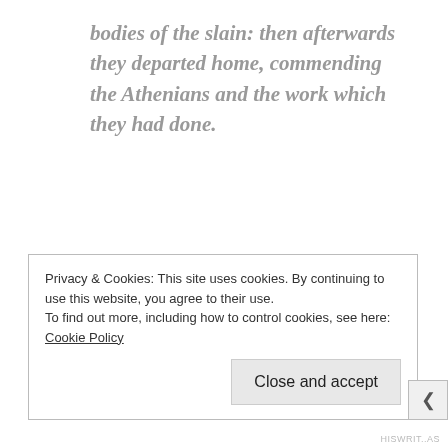bodies of the slain: then afterwards they departed home, commending the Athenians and the work which they had done.
Herodotus, then, doesn't mention what actually happened to the corpses. For that, we have to turn to Thucydides (2.34.5) , who mentions it in his preliminaries to Pericles' Funeral Oration
Privacy & Cookies: This site uses cookies. By continuing to use this website, you agree to their use.
To find out more, including how to control cookies, see here: Cookie Policy
[Close and accept]